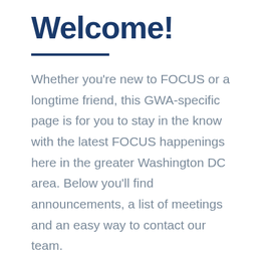Welcome!
Whether you're new to FOCUS or a longtime friend, this GWA-specific page is for you to stay in the know with the latest FOCUS happenings here in the greater Washington DC area. Below you'll find announcements, a list of meetings and an easy way to contact our team.